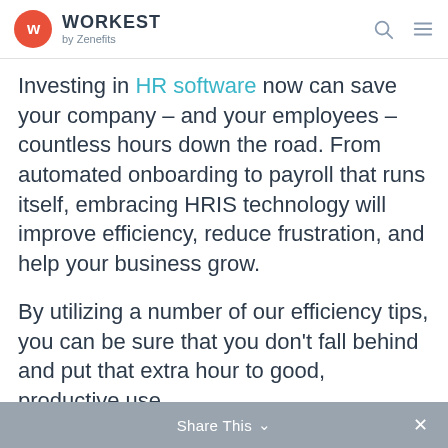WORKEST by Zenefits
Investing in HR software now can save your company – and your employees – countless hours down the road. From automated onboarding to payroll that runs itself, embracing HRIS technology will improve efficiency, reduce frustration, and help your business grow.
By utilizing a number of our efficiency tips, you can be sure that you don't fall behind and put that extra hour to good, productive use.
Share This ∨  ×